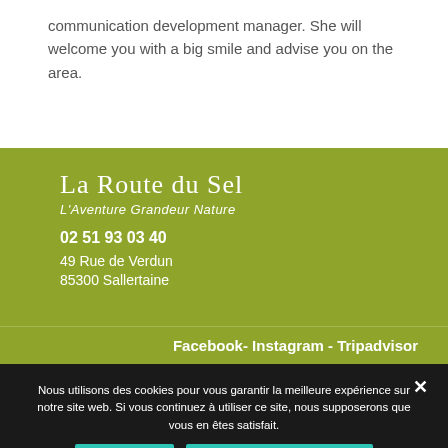communication development manager. She will welcome you with a big smile and advise you on the area.
La Route du Sel
L'Aventure Grandeur Nature
02 51 93 03 40
49 Rue de Verdun
85300 Sallertaine
Facebook- Instagram - Tripadvisor
Nous utilisons des cookies pour vous garantir la meilleure expérience sur notre site web. Si vous continuez à utiliser ce site, nous supposerons que vous en êtes satisfait.
J'accepte
Politique de confidentialité